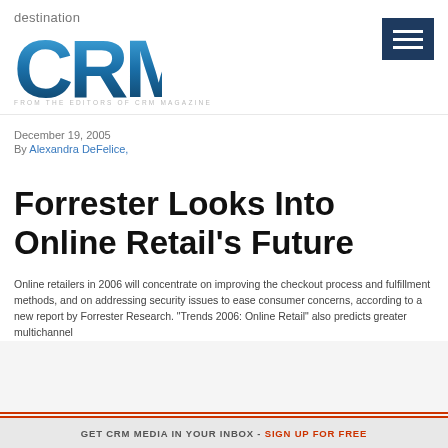[Figure (logo): Destination CRM logo — 'destination' in gray sans-serif above large gradient blue 'CRM' letters, with tagline 'FROM THE EDITORS OF CRM MAGAZINE' below]
[Figure (other): Dark navy hamburger menu icon (three horizontal white lines on dark navy background)]
December 19, 2005
By Alexandra DeFelice,
Forrester Looks Into Online Retail's Future
Online retailers in 2006 will concentrate on improving the checkout process and fulfillment methods, and on addressing security issues to ease consumer concerns, according to a new report by Forrester Research. "Trends 2006: Online Retail" also predicts greater multichannel
GET CRM MEDIA IN YOUR INBOX - SIGN UP FOR FREE